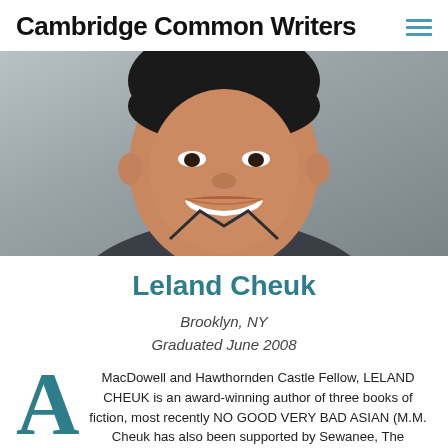Cambridge Common Writers
[Figure (photo): Headshot photo of a smiling Asian man in a dark shirt, against a grey concrete wall background]
Leland Cheuk
Brooklyn, NY
Graduated June 2008
MacDowell and Hawthornden Castle Fellow, LELAND CHEUK is an award-winning author of three books of fiction, most recently NO GOOD VERY BAD ASIAN (M.M. Cheuk has also been supported by Sewanee, The...